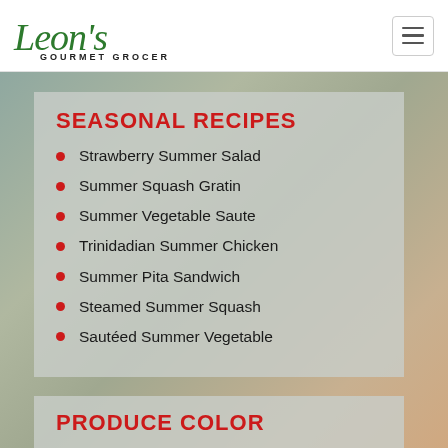Leon's Gourmet Grocer
SEASONAL RECIPES
Strawberry Summer Salad
Summer Squash Gratin
Summer Vegetable Saute
Trinidadian Summer Chicken
Summer Pita Sandwich
Steamed Summer Squash
Sautéed Summer Vegetable
PRODUCE COLOR